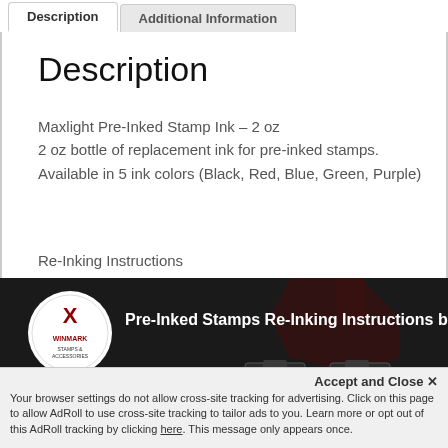Description | Additional Information
Description
Maxlight Pre-Inked Stamp Ink – 2 oz
2 oz bottle of replacement ink for pre-inked stamps. Available in 5 ink colors (Black, Red, Blue, Green, Purple)
Re-Inking Instructions
[Figure (screenshot): Video thumbnail showing Pre-Inked Stamps Re-Inking Instructions by Winmark, with dark background and ink bottle imagery]
Accept and Close ✕
Your browser settings do not allow cross-site tracking for advertising. Click on this page to allow AdRoll to use cross-site tracking to tailor ads to you. Learn more or opt out of this AdRoll tracking by clicking here. This message only appears once.